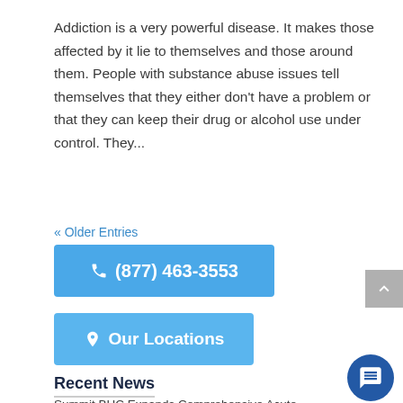Addiction is a very powerful disease. It makes those affected by it lie to themselves and those around them. People with substance abuse issues tell themselves that they either don't have a problem or that they can keep their drug or alcohol use under control. They...
« Older Entries
[Figure (other): Blue button with phone icon and text: (877) 463-3553]
[Figure (other): Blue button with location pin icon and text: Our Locations]
[Figure (other): Gray scroll-to-top arrow button on right edge]
Recent News
Summit BHC Expands Comprehensive Acute Psychiatric Services in North Carolina August 15, 2022
[Figure (other): Dark blue circular chat/message button in bottom right corner]